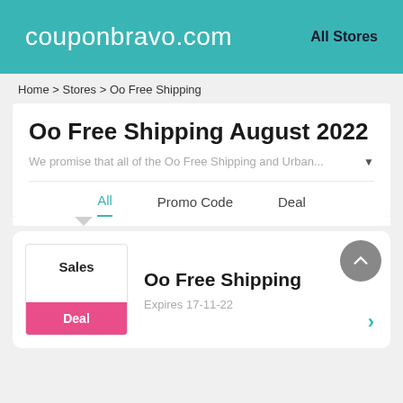couponbravo.com   All Stores
Home > Stores > Oo Free Shipping
Oo Free Shipping August 2022
We promise that all of the Oo Free Shipping and Urban...
All   Promo Code   Deal
Sales
Deal
Oo Free Shipping
Expires 17-11-22